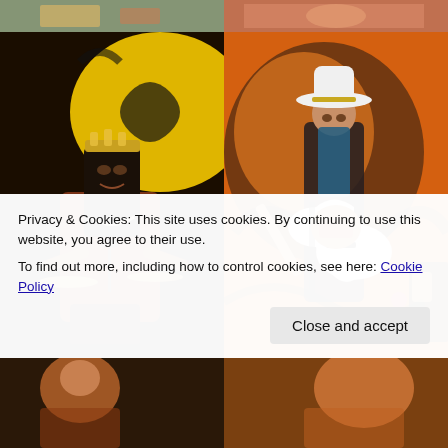[Figure (photo): Top strip of two photos: left shows a colorful outdoor scene, right shows dancers or performers]
[Figure (photo): Female drummer with long black hair and hippie-style outfit, playing drums in front of a yellow and black stylized sun mural backdrop]
[Figure (photo): Male guitarist in white cowboy hat playing a white electric guitar on stage, with another performer behind him, orange and black mural backdrop]
Privacy & Cookies: This site uses cookies. By continuing to use this website, you agree to their use.
To find out more, including how to control cookies, see here: Cookie Policy
[Figure (photo): Bottom left partial photo of performers]
[Figure (photo): Bottom right partial photo of performers]